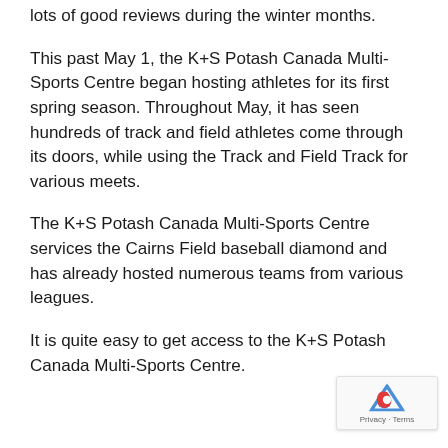lots of good reviews during the winter months.
This past May 1, the K+S Potash Canada Multi-Sports Centre began hosting athletes for its first spring season. Throughout May, it has seen hundreds of track and field athletes come through its doors, while using the Track and Field Track for various meets.
The K+S Potash Canada Multi-Sports Centre services the Cairns Field baseball diamond and has already hosted numerous teams from various leagues.
It is quite easy to get access to the K+S Potash Canada Multi-Sports Centre.